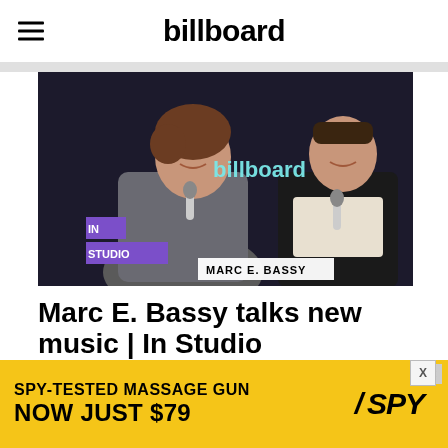billboard
[Figure (photo): Two men sitting on stage holding microphones at a Billboard In Studio event. The left man has curly brown hair and wears a grey patterned shirt. The right man wears a black jacket. Billboard logo appears in cyan in the background. 'IN STUDIO' label in purple at bottom left. 'MARC E. BASSY' name plate at bottom center.]
Marc E. Bassy talks new music | In Studio
[Figure (infographic): Advertisement banner with yellow background. Text reads 'SPY-TESTED MASSAGE GUN' on top line and 'NOW JUST $79' in bold on second line. SPY logo in italic black text on right side. X close button in top right corner.]